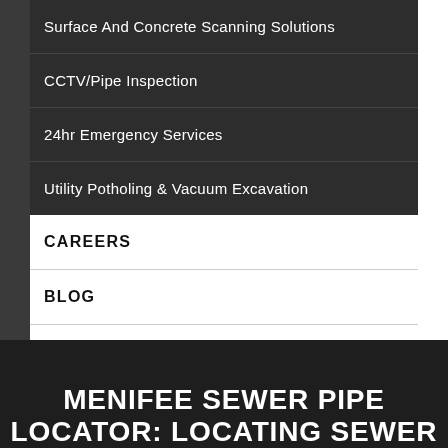Surface And Concrete Scanning Solutions
CCTV/Pipe Inspection
24hr Emergency Services
Utility Potholing & Vacuum Excavation
CAREERS
BLOG
FAQ
CONTACT US
MENIFEE SEWER PIPE LOCATOR: LOCATING SEWER